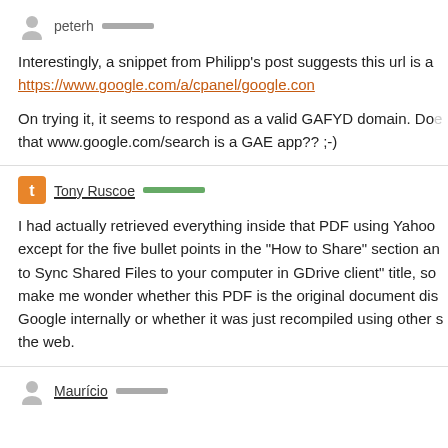peterh
Interestingly, a snippet from Philipp's post suggests this url is a https://www.google.com/a/cpanel/google.con
On trying it, it seems to respond as a valid GAFYD domain. Does that www.google.com/search is a GAE app?? ;-)
Tony Ruscoe
I had actually retrieved everything inside that PDF using Yahoo except for the five bullet points in the "How to Share" section and to Sync Shared Files to your computer in GDrive client" title, so make me wonder whether this PDF is the original document distributed Google internally or whether it was just recompiled using other sources the web.
Maurício